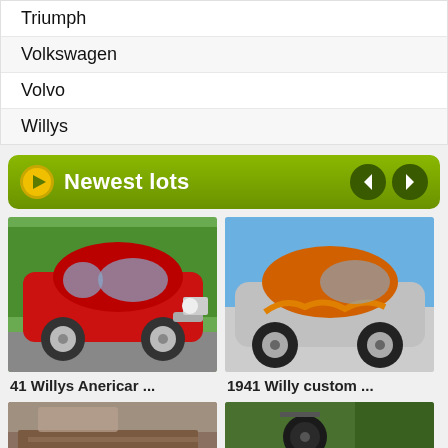Triumph
Volkswagen
Volvo
Willys
Newest lots
[Figure (photo): Red classic Willys coupe hot rod on pavement]
41 Willys Anericar ...
[Figure (photo): Orange and silver custom 1941 Willys coupe]
1941 Willy custom ...
[Figure (photo): Partial view of a vintage woodie wagon exterior]
[Figure (photo): Interior view of vintage vehicle showing steering wheel]